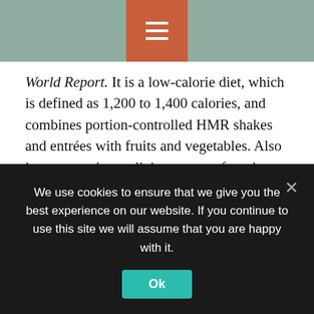Navigation bar with menu button
World Report. It is a low-calorie diet, which is defined as 1,200 to 1,400 calories, and combines portion-controlled HMR shakes and entrées with fruits and vegetables. Also incorporated are a light amount of moderate physical activity and support from peers, such as HMR health coaches and medical professionals.
HMR Diet Phases
There are two main phases of the HMR program, says Adam Schafer, RDN, the lead dietitian at OSF
We use cookies to ensure that we give you the best experience on our website. If you continue to use this site we will assume that you are happy with it.